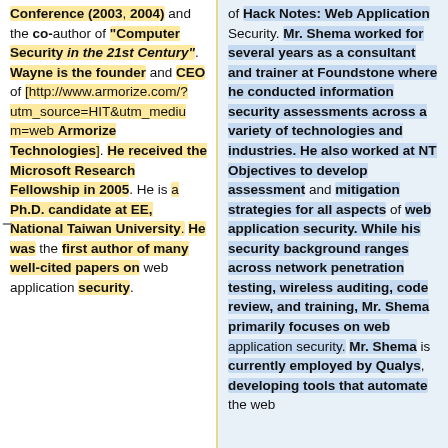Conference (2003, 2004) and the co-author of "Computer Security in the 21st Century". Wayne is the founder and CEO of [http://www.armorize.com/?utm_source=HIT&utm_medium=web Armorize Technologies]. He received the Microsoft Research Fellowship in 2005. He is a Ph.D. candidate at EE, National Taiwan University. He was the first author of many well-cited papers on web application security.
of Hack Notes: Web Application Security. Mr. Shema worked for several years as a consultant and trainer at Foundstone where he conducted information security assessments across a variety of technologies and industries. He also worked at NT Objectives to develop assessment and mitigation strategies for all aspects of web application security. While his security background ranges across network penetration testing, wireless auditing, code review, and training, Mr. Shema primarily focuses on web application security. Mr. Shema is currently employed by Qualys, developing tools that automate the web